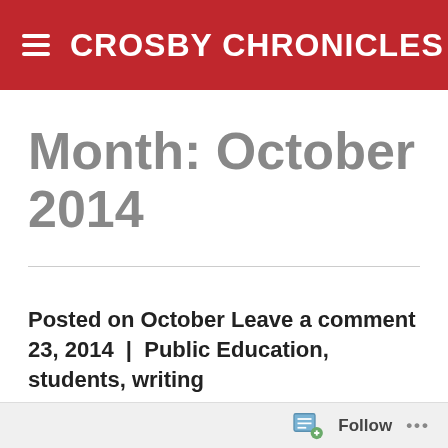CROSBY CHRONICLES
Month: October 2014
Posted on October 23, 2014 | Leave a comment Public Education, students, writing
Follow ...